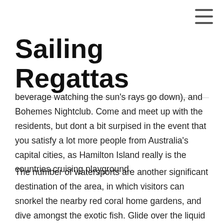Sailing Regattas
beverage watching the sun's rays go down), and Bohemes Nightclub. Come and meet up with the residents, but dont a bit surpised in the event that you satisfy a lot more people from Australia's capital cities, as Hamilton Island really is the countries cruising playground.
The number of watersports are another significant destination of the area, in which visitors can snorkel the nearby red coral home gardens, and dive amongst the exotic fish. Glide over the liquid on a jet skiing or slow the pace down with a gentle paddle in a kayak and explore the nearby bays